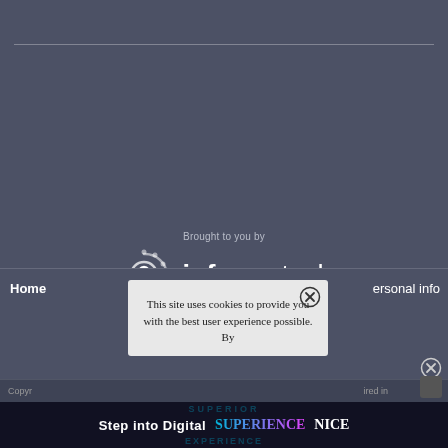[Figure (logo): Informa Tech logo with circular spiral icon and text 'Brought to you by informa tech' on dark blue-grey background]
Home
Personal info
[Figure (screenshot): Cookie consent popup overlay reading: 'This site uses cookies to provide you with the best user experience possible. By' with X close button]
Copyr
ired in
[Figure (infographic): Bottom advertisement banner: 'Step into Digital SUPERIENCE NICE' with SUPERIOR EXPERIENCE text in gradient colors]